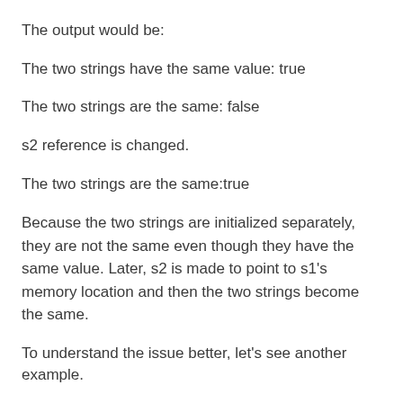The output would be:
The two strings have the same value: true
The two strings are the same: false
s2 reference is changed.
The two strings are the same:true
Because the two strings are initialized separately, they are not the same even though they have the same value. Later, s2 is made to point to s1's memory location and then the two strings become the same.
To understand the issue better, let's see another example.
public class MyClass {